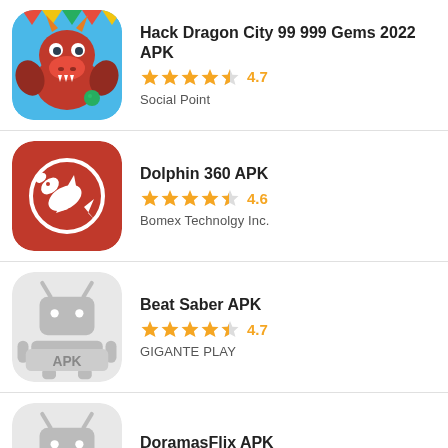[Figure (screenshot): App listing for Hack Dragon City 99 999 Gems 2022 APK with dragon game icon, 4.7 star rating, developer Social Point]
[Figure (screenshot): App listing for Dolphin 360 APK with red dolphin icon, 4.6 star rating, developer Bomex Technolgy Inc.]
[Figure (screenshot): App listing for Beat Saber APK with generic APK icon, 4.7 star rating, developer GIGANTE PLAY]
[Figure (screenshot): App listing for DoramasFlix APK with generic APK icon, 4.7 star rating (partially visible)]